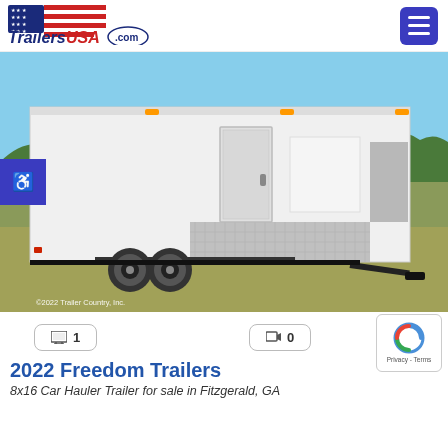[Figure (logo): TrailersUSA.com logo with American flag stars and stripes motif in red, white and blue]
[Figure (photo): White enclosed cargo/car hauler trailer with tandem axles, side door, diamond plate lower trim, parked on grass field with trees in background. Copyright 2022 Trailer Country, Inc.]
1
0
2022 Freedom Trailers
8x16 Car Hauler Trailer for sale in Fitzgerald, GA